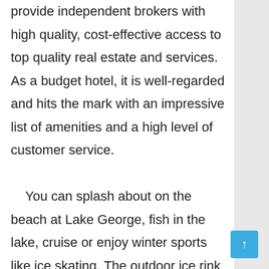provide independent brokers with high quality, cost-effective access to top quality real estate and services. As a budget hotel, it is well-regarded and hits the mark with an impressive list of amenities and a high level of customer service.

    You can splash about on the beach at Lake George, fish in the lake, cruise or enjoy winter sports like ice skating. The outdoor ice rink is illuminated with various skates, snowshoes and snowboard equipment, and you can fish around the lakes.